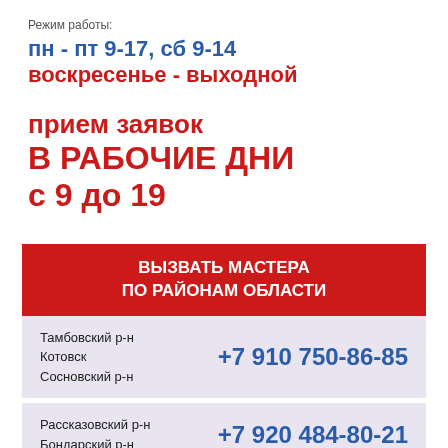Режим работы:
пн - пт 9-17, сб 9-14
воскресенье - выходной
прием заявок
В РАБОЧИЕ ДНИ
с 9 до 19
ВЫЗВАТЬ МАСТЕРА ПО РАЙОНАМ ОБЛАСТИ
Тамбовский р-н
Котовск
Сосновский р-н
+7 910 750-86-85
Рассказовский р-н
Бондарский р-н
+7 920 484-80-21